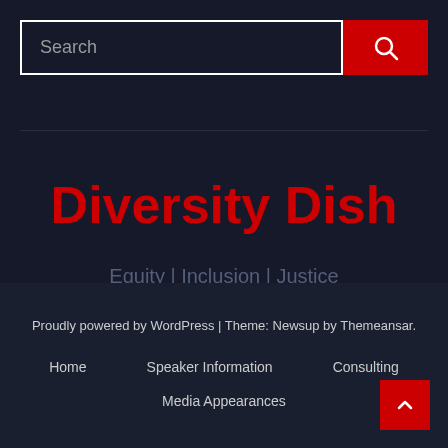[Figure (screenshot): Search bar with text input field and red search button with magnifying glass icon]
Diversity Dish
Equity | Inclusion | Justice
Proudly powered by WordPress | Theme: Newsup by Themeansar.
Home
Speaker Information
Consulting
Media Appearances